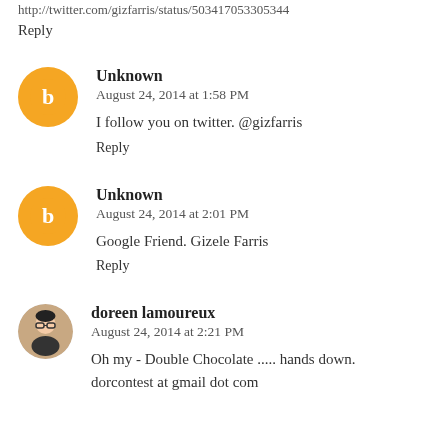http://twitter.com/gizfarris/status/503417053305344
Reply
Unknown
August 24, 2014 at 1:58 PM
I follow you on twitter. @gizfarris
Reply
Unknown
August 24, 2014 at 2:01 PM
Google Friend. Gizele Farris
Reply
doreen lamoureux
August 24, 2014 at 2:21 PM
Oh my - Double Chocolate ..... hands down. dorcontest at gmail dot com